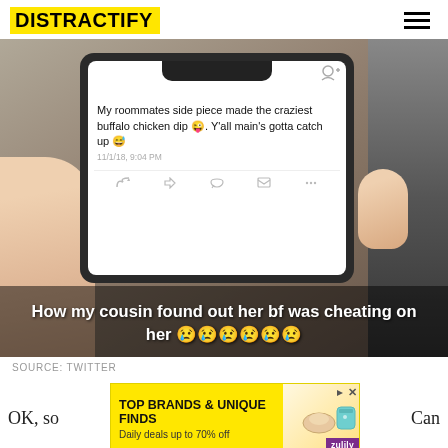DISTRACTIFY
[Figure (screenshot): Photo of a person holding a phone showing a tweet that reads: 'My roommates side piece made the craziest buffalo chicken dip 😜. Y'all main's gotta catch up 😅' with caption overlay 'How my cousin found out her bf was cheating on her 😢😢😢😢😢😢']
SOURCE: TWITTER
[Figure (other): Advertisement banner: TOP BRANDS & UNIQUE FINDS - Daily deals up to 70% off - Zulily]
OK, so     Can